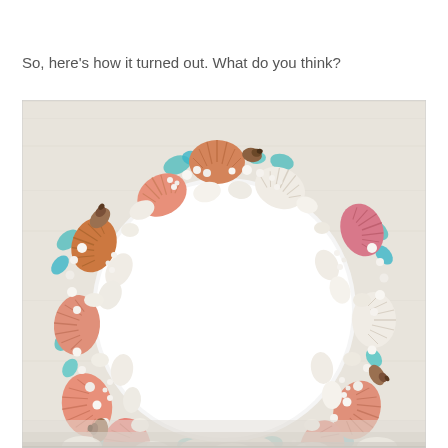So, here's how it turned out. What do you think?
[Figure (photo): A decorative wreath or plate border made of seashells — various scallop shells, conch shells, small white pebbles, and turquoise sea glass arranged in a circular ring pattern on a white/cream background. The center of the plate is white/blank. The bottom of the image is cut off showing just the bottom arc of the shell wreath.]